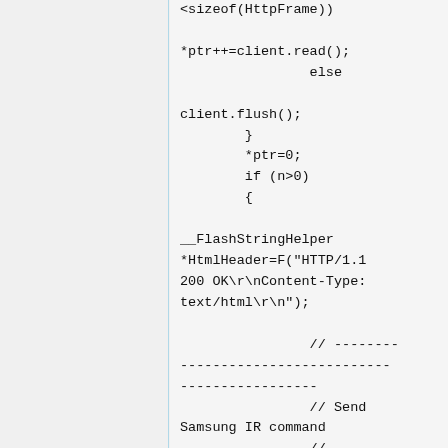<sizeof(HttpFrame))

*ptr++=client.read();
                else

client.flush();
        }
        *ptr=0;
        if (n>0)
        {

__FlashStringHelper
*HtmlHeader=F("HTTP/1.1
200 OK\r\nContent-Type:
text/html\r\n");

                // --------
--------------------------
-----------------
                // Send
Samsung IR command
                // --------
--------------------------
-----------------